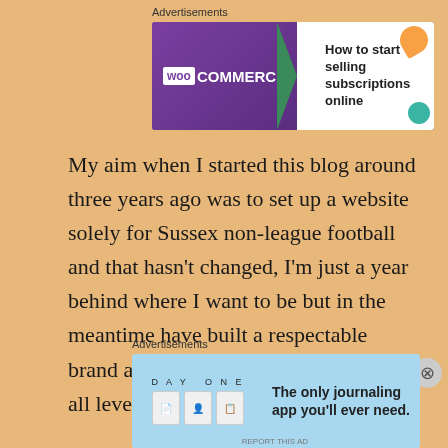Advertisements
[Figure (illustration): WooCommerce banner ad: purple background with WooCommerce logo on left, white panel on right with text 'How to start selling subscriptions online', decorative orange and green blobs]
My aim when I started this blog around three years ago was to set up a website solely for Sussex non-league football and that hasn't changed, I'm just a year behind where I want to be but in the meantime have built a respectable brand and a growing contact book from all levels of the game.
I also have viewings consistently from all over the world and at times it really does surprise me where these words are read and I hope they continue to be a
Advertisements
[Figure (illustration): Day One journaling app banner ad: light blue background with 'DAY ONE' logo and app icons on left, text 'The only journaling app you'll ever need.' on right]